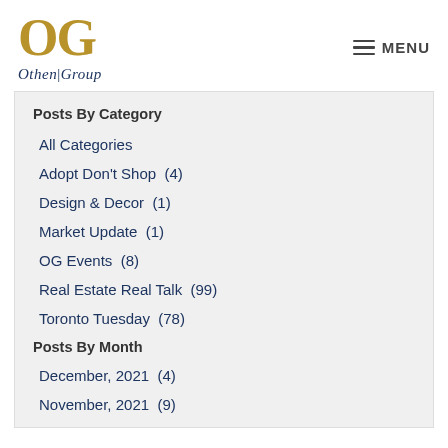[Figure (logo): OG Othen|Group logo with gold OG letters and dark blue text]
Posts By Category
All Categories
Adopt Don't Shop  (4)
Design & Decor  (1)
Market Update  (1)
OG Events  (8)
Real Estate Real Talk  (99)
Toronto Tuesday  (78)
Posts By Month
December, 2021  (4)
November, 2021  (9)